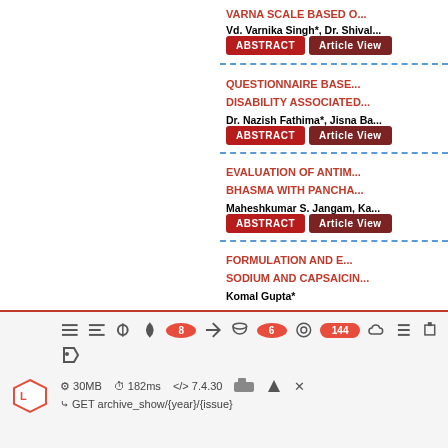VARNA SCALE BASED O...
Vd. Varnika Singh*, Dr. Shival...
QUESTIONNAIRE BASED... DISABILITY ASSOCIATED...
Dr. Nazish Fathima*, Jisna Ba...
EVALUATION OF ANTIM... BHASMA WITH PANCHA...
Maheshkumar S. Jangam, Ka...
FORMULATION AND E... SODIUM AND CAPSAICIN...
Komal Gupta*
[Figure (screenshot): Web browser developer toolbar showing icons with notification badges: 8, 6, 144. Status bar showing 30MB, 182ms, 7.4.30. Route: GET archive_show/{year}/{issue}. Laravel logo bottom left.]